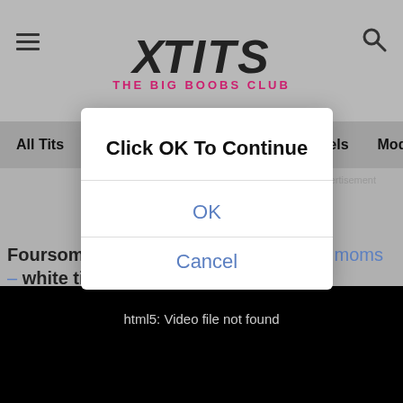[Figure (screenshot): Website header with XTITS THE BIG BOOBS CLUB logo, hamburger menu icon on left, search icon on right]
All Tits  Big Naturals  Photos  Channels  Models
Advertisement
Foursome lesbian orgy with curvy busty moms – white tits vs black tits vs Asian tits
[Figure (screenshot): Modal dialog with text 'Click OK To Continue', OK button, and Cancel button]
html5: Video file not found